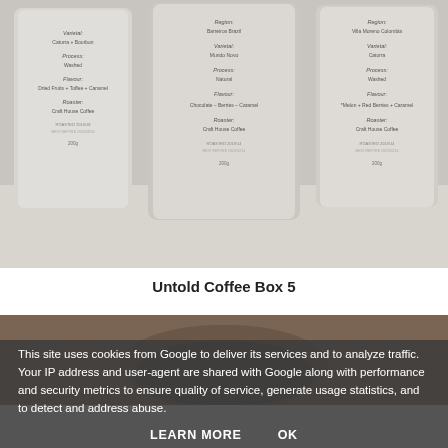[Figure (photo): Three white specialty coffee bags labeled with region, varietal, process, flavour, and roaster information. Center bag shows Barreiros Brazil, Mundo Novo, Natural, Chocolate-Berries-Caramel, Craft House Coffee. Left bag shows Caturra+Bourbon, Washed, Dried Fruits+Toffee+Caramel, Craft House Coffee. Right bag shows Villa Moreno Colombia, Caturra, Washed, Melon+Red Berries+Caramel, Craft House Coffee.]
Untold Coffee Box 5
[Figure (photo): Partial photo of a coffee-related object on a wooden surface, mostly obscured by cookie consent overlay.]
This site uses cookies from Google to deliver its services and to analyze traffic. Your IP address and user-agent are shared with Google along with performance and security metrics to ensure quality of service, generate usage statistics, and to detect and address abuse.
LEARN MORE    OK